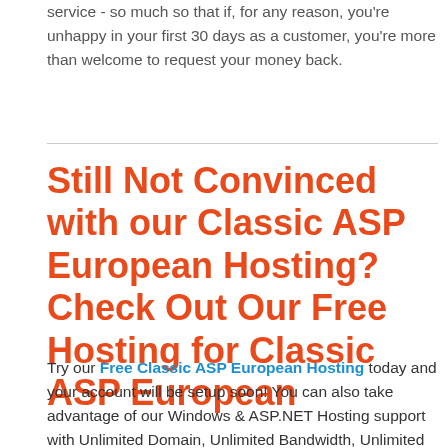service - so much so that if, for any reason, you're unhappy in your first 30 days as a customer, you're more than welcome to request your money back.
Still Not Convinced with our Classic ASP European Hosting? Check Out Our Free Hosting for Classic ASP European
Try our Free Classic ASP European Hosting today and your account will be setup soon! You can also take advantage of our Windows & ASP.NET Hosting support with Unlimited Domain, Unlimited Bandwidth, Unlimited Disk Space, etc. You will not be charged a cent for trying our service for the next 3 days. Once